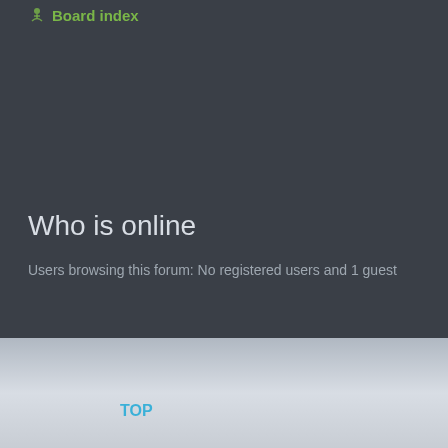Board index
Who is online
Users browsing this forum: No registered users and 1 guest
TOP